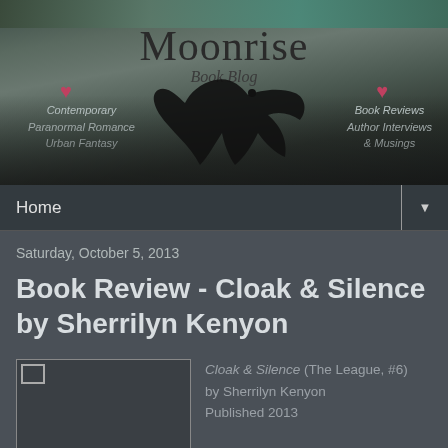[Figure (illustration): Moonrise Book Blog banner header with a raven/crow silhouette against a dark moody ocean background. Text reads 'Moonrise' in large serif font and 'Book Blog' in italic beneath. Left side lists: Contemporary, Paranormal Romance, Urban Fantasy. Right side lists: Book Reviews, Author Interviews, & Musings. Two red heart/decorative icons flank the center.]
Home ▼
Saturday, October 5, 2013
Book Review - Cloak & Silence by Sherrilyn Kenyon
[Figure (photo): Book cover image (broken/not loaded, shown as small broken image icon) for Cloak & Silence]
Cloak & Silence (The League, #6)
by Sherrilyn Kenyon
Published 2013